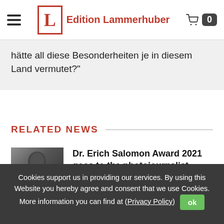Edition Lammerhuber
hätte all diese Besonderheiten je in diesem Land vermutet?"
RELATED NEWS
[Figure (photo): Black and white portrait photo of a person, used as thumbnail for a news article]
Dr. Erich Salomon Award 2021 goes to the photojournalist
Cookies support us in providing our services. By using this Website you hereby agree and consent that we use Cookies. More information you can find at (Privacy Policy)  ok